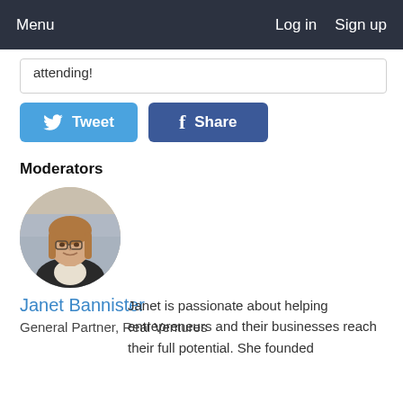Menu   Log in  Sign up
attending!
[Figure (other): Tweet button (Twitter) and Share button (Facebook)]
Moderators
[Figure (photo): Circular profile photo of Janet Bannister, a woman with light brown hair and glasses, wearing a dark blazer]
Janet Bannister
General Partner, Real Ventures
Janet is passionate about helping entrepreneurs and their businesses reach their full potential. She founded